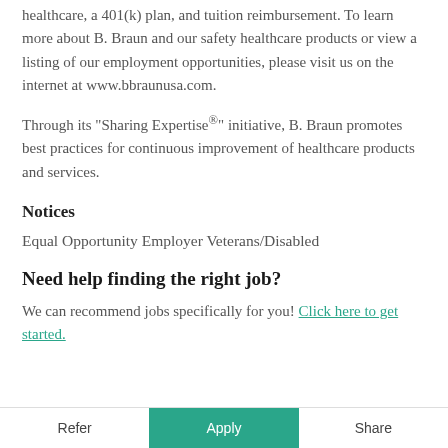healthcare, a 401(k) plan, and tuition reimbursement. To learn more about B. Braun and our safety healthcare products or view a listing of our employment opportunities, please visit us on the internet at www.bbraunusa.com.
Through its “Sharing Expertise®” initiative, B. Braun promotes best practices for continuous improvement of healthcare products and services.
Notices
Equal Opportunity Employer Veterans/Disabled
Need help finding the right job?
We can recommend jobs specifically for you! Click here to get started.
Refer | Apply | Share